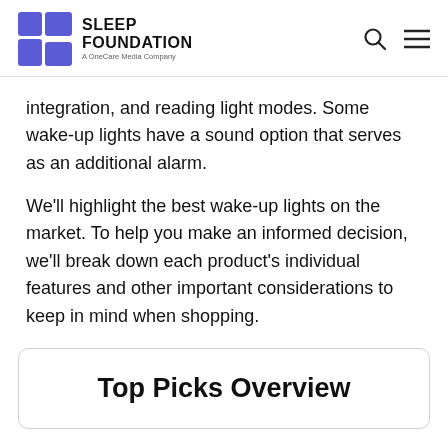SLEEP FOUNDATION — A OneCare Media Company
integration, and reading light modes. Some wake-up lights have a sound option that serves as an additional alarm.
We'll highlight the best wake-up lights on the market. To help you make an informed decision, we'll break down each product's individual features and other important considerations to keep in mind when shopping.
Top Picks Overview